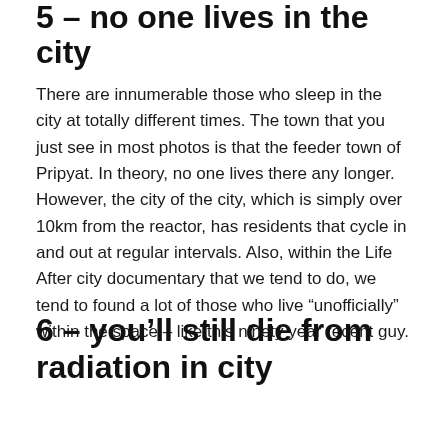5 – no one lives in the city
There are innumerable those who sleep in the city at totally different times. The town that you just see in most photos is that the feeder town of Pripyat. In theory, no one lives there any longer. However, the city of the city, which is simply over 10km from the reactor, has residents that cycle in and out at regular intervals. Also, within the Life After city documentary that we tend to do, we tend to found a lot of those who live “Unofficially” within the space – like this ninety year recent guy.
6 – you'll still die from radiation in city